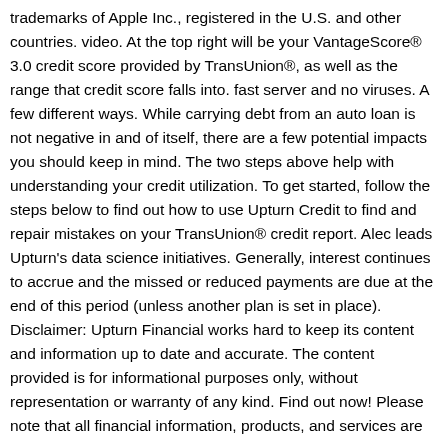trademarks of Apple Inc., registered in the U.S. and other countries. video. At the top right will be your VantageScore® 3.0 credit score provided by TransUnion®, as well as the range that credit score falls into. fast server and no viruses. A few different ways. While carrying debt from an auto loan is not negative in and of itself, there are a few potential impacts you should keep in mind. The two steps above help with understanding your credit utilization. To get started, follow the steps below to find out how to use Upturn Credit to find and repair mistakes on your TransUnion® credit report. Alec leads Upturn's data science initiatives. Generally, interest continues to accrue and the missed or reduced payments are due at the end of this period (unless another plan is set in place). Disclaimer: Upturn Financial works hard to keep its content and information up to date and accurate. The content provided is for informational purposes only, without representation or warranty of any kind. Find out now! Please note that all financial information, products, and services are